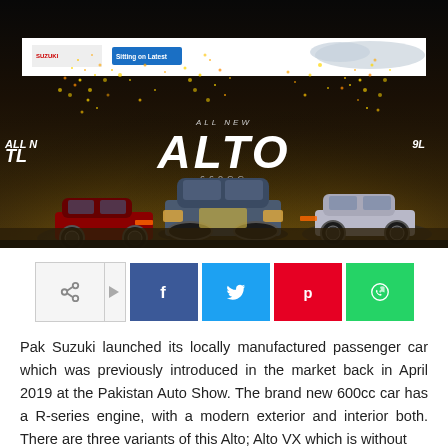[Figure (photo): Launch event of Pak Suzuki Alto 660cc with three car variants on a dark stage with sparkle effects and 'ALL NEW ALTO 660CC' signage, plus a banner at the top with Suzuki logo and blue button.]
[Figure (infographic): Social share buttons row: share icon (grey), Facebook (blue), Twitter (light blue), Pinterest (red), WhatsApp (green)]
Pak Suzuki launched its locally manufactured passenger car which was previously introduced in the market back in April 2019 at the Pakistan Auto Show. The brand new 600cc car has a R-series engine, with a modern exterior and interior both. There are three variants of this Alto; Alto VX which is without